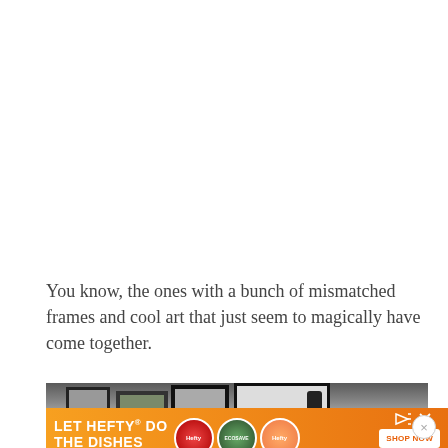You know, the ones with a bunch of mismatched frames and cool art that just seem to magically have come together.
[Figure (photo): Photo of a wall gallery with multiple mismatched picture frames including black and white art, partially cropped at bottom of page]
[Figure (other): Advertisement banner for Hefty dishes product with orange background, product images, and SHOP NOW button. Text: LET HEFTY DO THE DISHES. © 2022 Reynolds Consumer Products LLC]